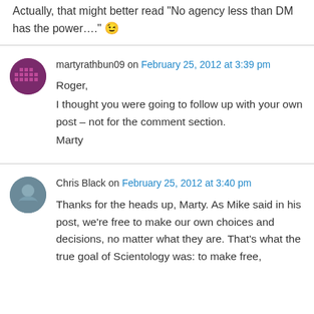Actually, that might better read "No agency less than DM has the power...." 😉
martyrathbun09 on February 25, 2012 at 3:39 pm

Roger,
I thought you were going to follow up with your own post – not for the comment section.
Marty
Chris Black on February 25, 2012 at 3:40 pm

Thanks for the heads up, Marty. As Mike said in his post, we're free to make our own choices and decisions, no matter what they are. That's what the true goal of Scientology was: to make free,